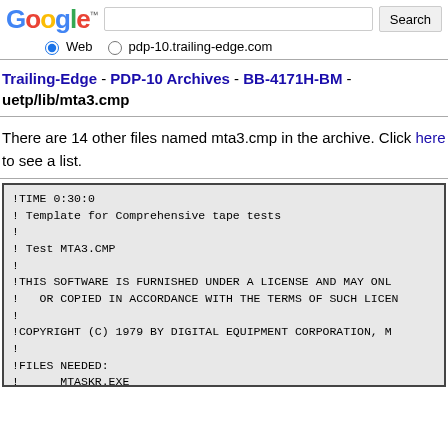[Figure (screenshot): Google search bar with Web and pdp-10.trailing-edge.com radio buttons]
Trailing-Edge - PDP-10 Archives - BB-4171H-BM - uetp/lib/mta3.cmp
There are 14 other files named mta3.cmp in the archive. Click here to see a list.
!TIME 0:30:0
! Template for Comprehensive tape tests
!
! Test MTA3.CMP
!
!THIS SOFTWARE IS FURNISHED UNDER A LICENSE AND MAY ONL
!   OR COPIED IN ACCORDANCE WITH THE TERMS OF SUCH LICEN
!
!COPYRIGHT (C) 1979 BY DIGITAL EQUIPMENT CORPORATION, M
!
!FILES NEEDED:
!      MTASKR.EXE
!      MTASKF.EXE
!      MTABAK.EXE
!      MTABKR.EXE